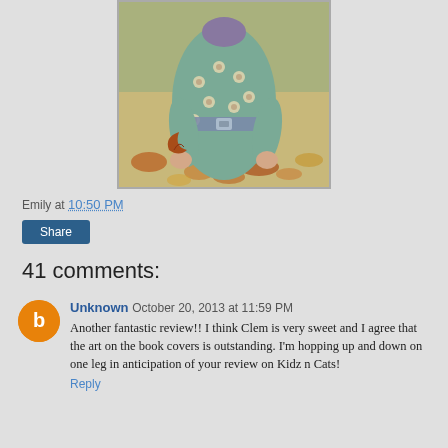[Figure (photo): A child wearing a teal/green floral dress with a purple collar and belt, holding an autumn leaf, standing in front of fallen leaves]
Emily at 10:50 PM
Share
41 comments:
Unknown  October 20, 2013 at 11:59 PM
Another fantastic review!! I think Clem is very sweet and I agree that the art on the book covers is outstanding. I'm hopping up and down on one leg in anticipation of your review on Kidz n Cats!
Reply